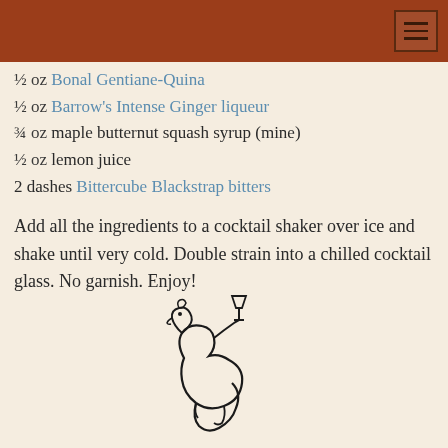½ oz Bonal Gentiane-Quina
½ oz Barrow's Intense Ginger liqueur
¾ oz maple butternut squash syrup (mine)
½ oz lemon juice
2 dashes Bittercube Blackstrap bitters
Add all the ingredients to a cocktail shaker over ice and shake until very cold. Double strain into a chilled cocktail glass. No garnish. Enjoy!
[Figure (logo): A stylized illustration of a squirrel holding a cocktail glass, drawn in black line art]